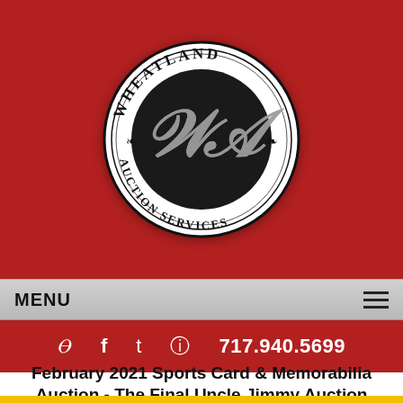[Figure (logo): Wheatland Auction Services circular logo with ornate black and white design, featuring stylized WA monogram in center and text 'WHEATLAND' at top and 'AUCTION SERVICES' at bottom]
MENU
717.940.5699
February 2021 Sports Card & Memorabilia Auction - The Final Uncle Jimmy Auction